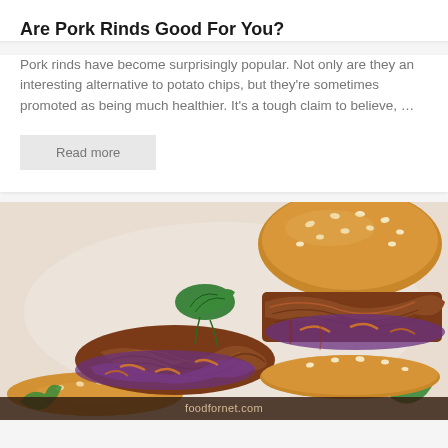Are Pork Rinds Good For You?
Pork rinds have become surprisingly popular. Not only are they an interesting alternative to potato chips, but they're sometimes promoted as being much healthier. It's a tough claim to believe, …
Read more
[Figure (photo): Close-up photo of pulled pork sliders/sandwiches on sesame buns with purple cabbage coleslaw and fresh cilantro garnish, on a white surface. Watermark reads foodfornet.com]